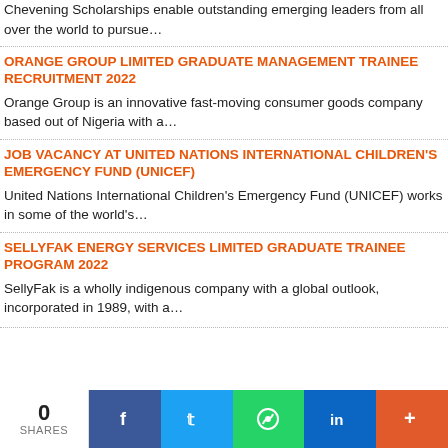Chevening Scholarships enable outstanding emerging leaders from all over the world to pursue…
ORANGE GROUP LIMITED GRADUATE MANAGEMENT TRAINEE RECRUITMENT 2022
Orange Group is an innovative fast-moving consumer goods company based out of Nigeria with a…
JOB VACANCY AT UNITED NATIONS INTERNATIONAL CHILDREN'S EMERGENCY FUND (UNICEF)
United Nations International Children's Emergency Fund (UNICEF) works in some of the world's…
SELLYFAK ENERGY SERVICES LIMITED GRADUATE TRAINEE PROGRAM 2022
SellyFak is a wholly indigenous company with a global outlook, incorporated in 1989, with a…